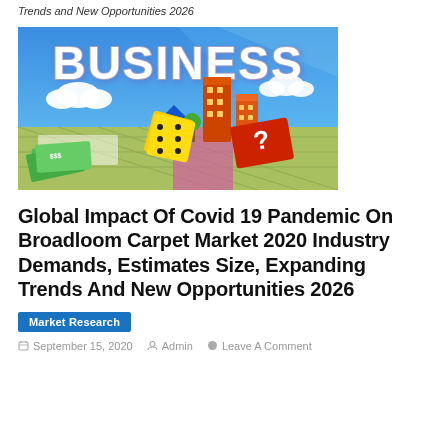Trends and New Opportunities 2026
[Figure (illustration): Colorful business-themed illustration with the word BUSINESS in large white text, cartoon buildings, dice, monopoly-style board game elements, money, clouds on a blue background]
Global Impact Of Covid 19 Pandemic On Broadloom Carpet Market 2020 Industry Demands, Estimates Size, Expanding Trends And New Opportunities 2026
Market Research
September 15, 2020   Admin   Leave A Comment